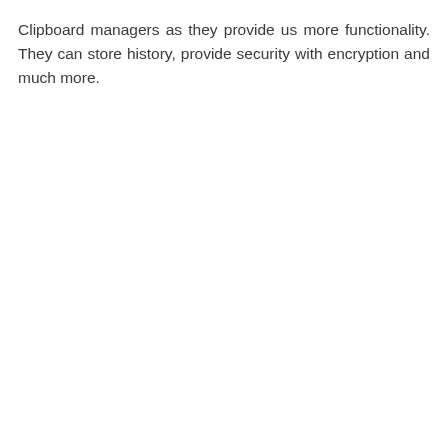Clipboard managers as they provide us more functionality. They can store history, provide security with encryption and much more.